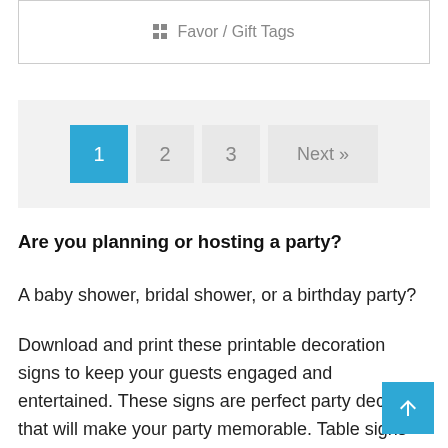Favor / Gift Tags
[Figure (other): Pagination navigation with page buttons: 1 (active/blue), 2, 3, and Next»]
Are you planning or hosting a party?
A baby shower, bridal shower, or a birthday party?
Download and print these printable decoration signs to keep your guests engaged and entertained. These signs are perfect party decor that will make your party memorable. Table signs like "How many Kisses for the soon to be Mrs", "How big is Mommy's belly" or "Don't say Baby" are some of the popular party decor signs that can be used as printable party games as well.